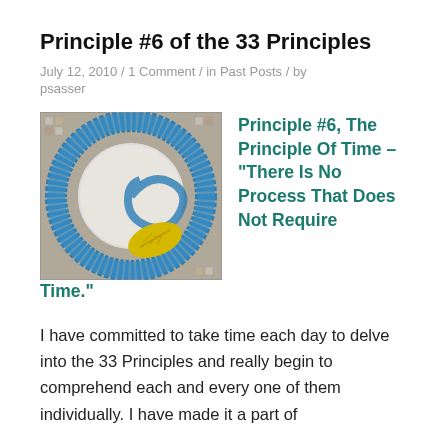Principle #6 of the 33 Principles
July 12, 2010 / 1 Comment / in Past Posts / by psasser
[Figure (photo): Mosaic tile artwork showing a decorative spiral/number pattern in blue and white tiles with a yellow leaf]
Principle #6,  The Principle Of Time – “There Is No Process That Does Not Require Time.”
I have committed to take time each day to delve into the 33 Principles and really begin to comprehend each and every one of them individually.  I have made it a part of